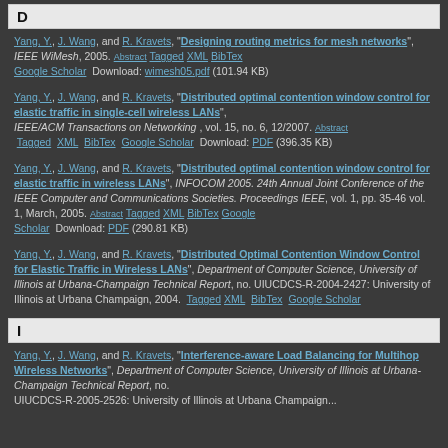D
Yang, Y., J. Wang, and R. Kravets, "Designing routing metrics for mesh networks", IEEE WiMesh, 2005. Abstract Tagged XML BibTex Google Scholar Download: wimesh05.pdf (101.94 KB)
Yang, Y., J. Wang, and R. Kravets, "Distributed optimal contention window control for elastic traffic in single-cell wireless LANs", IEEE/ACM Transactions on Networking, vol. 15, no. 6, 12/2007. Abstract Tagged XML BibTex Google Scholar Download: PDF (396.35 KB)
Yang, Y., J. Wang, and R. Kravets, "Distributed optimal contention window control for elastic traffic in wireless LANs", INFOCOM 2005. 24th Annual Joint Conference of the IEEE Computer and Communications Societies. Proceedings IEEE, vol. 1, pp. 35-46 vol. 1, March, 2005. Abstract Tagged XML BibTex Google Scholar Download: PDF (290.81 KB)
Yang, Y., J. Wang, and R. Kravets, "Distributed Optimal Contention Window Control for Elastic Traffic in Wireless LANs", Department of Computer Science, University of Illinois at Urbana-Champaign Technical Report, no. UIUCDCS-R-2004-2427: University of Illinois at Urbana Champaign, 2004. Tagged XML BibTex Google Scholar
I
Yang, Y., J. Wang, and R. Kravets, "Interference-aware Load Balancing for Multihop Wireless Networks", Department of Computer Science, University of Illinois at Urbana-Champaign Technical Report, no. UIUCDCS-R-2005-2526: University of Illinois at Urbana Champaign...